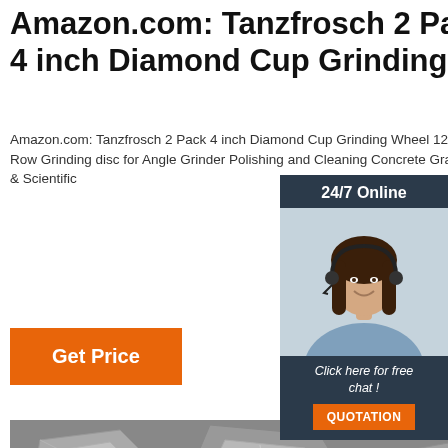Amazon.com: Tanzfrosch 2 Pack 4 inch Diamond Cup Grinding ...
Amazon.com: Tanzfrosch 2 Pack 4 inch Diamond Cup Grinding Wheel 12-Segments Heavy Duty Turbo Row Grinding disc for Angle Grinder Polishing and Cleaning Concrete Granite Marble Stone Rock Cement & Scientific
Get Price
[Figure (photo): Customer service representative woman with headset, overlay chat widget with 24/7 Online text, Click here for free chat, and QUOTATION button]
[Figure (photo): Grayscale microscopic image of diamond or mineral crystal particles/grains, with TOP logo watermark in lower right corner]